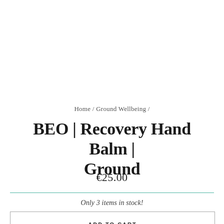Home / Ground Wellbeing /
BEO | Recovery Hand Balm | Ground
€25.00
Only 3 items in stock!
ADD TO CART